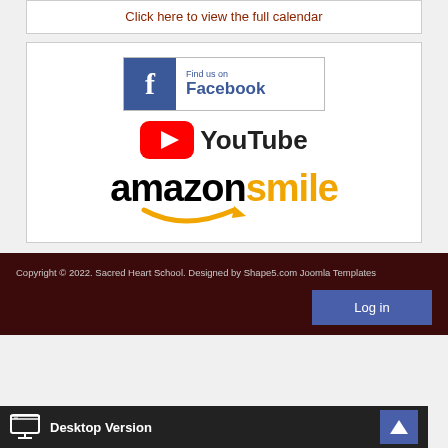Click here to view the full calendar
[Figure (logo): Facebook Find us on Facebook badge]
[Figure (logo): YouTube logo]
[Figure (logo): Amazon Smile logo]
Copyright © 2022. Sacred Heart School. Designed by Shape5.com Joomla Templates
Desktop Version